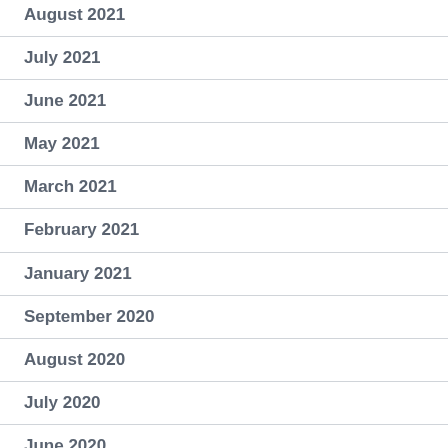August 2021
July 2021
June 2021
May 2021
March 2021
February 2021
January 2021
September 2020
August 2020
July 2020
June 2020